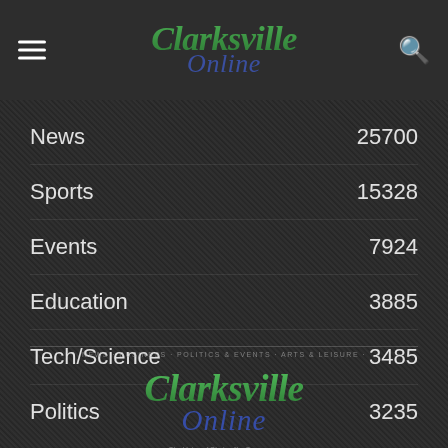Clarksville Online — navigation header with hamburger menu and search icon
News 25700
Sports 15328
Events 7924
Education 3885
Tech/Science 3485
Politics 3235
[Figure (logo): Clarksville Online logo — The Voice of Clarksville, Tennessee]